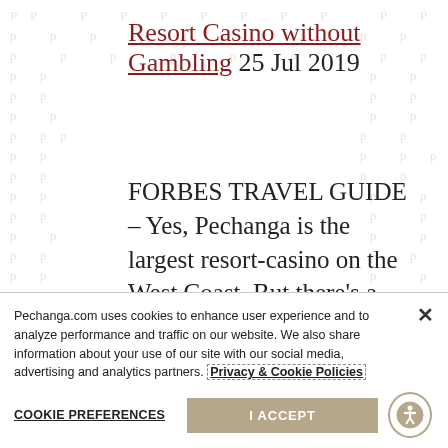Resort Casino without Gambling 25 Jul 2019
FORBES TRAVEL GUIDE – Yes, Pechanga is the largest resort-casino on the West Coast. But there's a multitude of activities guests can enjoy that are sure bets
Pechanga.com uses cookies to enhance user experience and to analyze performance and traffic on our website. We also share information about your use of our site with our social media, advertising and analytics partners. Privacy & Cookie Policies
COOKIE PREFERENCES   I ACCEPT